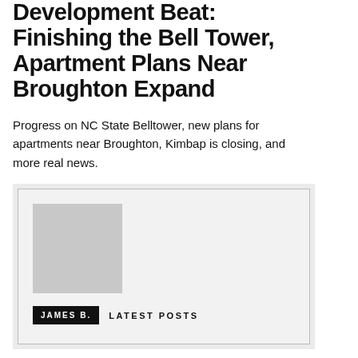Development Beat: Finishing the Bell Tower, Apartment Plans Near Broughton Expand
Progress on NC State Belltower, new plans for apartments near Broughton, Kimbap is closing, and more real news.
[Figure (other): Author card with gray avatar placeholder image, black badge reading 'JAMES B.' and 'LATEST POSTS' label, on a light gray background with border]